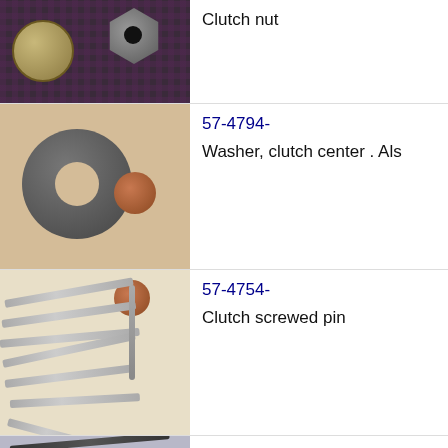[Figure (photo): Photo of a clutch nut (hexagonal nut) next to a coin on a dark woven fabric background]
Clutch nut
[Figure (photo): Photo of a large flat clutch center washer (dark steel) and a penny coin on a wood surface]
57-4794-
Washer, clutch center . Als
[Figure (photo): Photo of multiple clutch screwed pins (long bolts/pins) and a penny coin on a light surface]
57-4754-
Clutch screwed pin
[Figure (photo): Partial photo of dark clutch pins on a ribbed surface]
21-2157